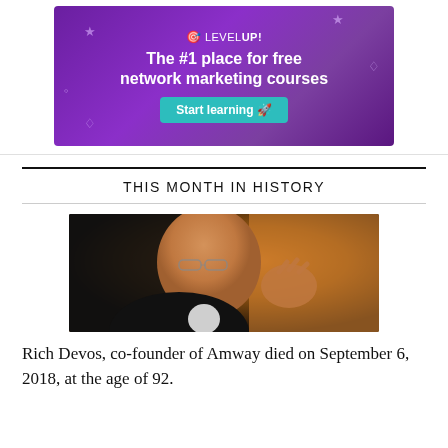[Figure (photo): LevelUp advertisement banner with purple gradient background, text 'The #1 place for free network marketing courses' and 'Start learning' button with rocket emoji]
THIS MONTH IN HISTORY
[Figure (photo): Photo of Rich DeVos, an elderly man in a dark suit with glasses, gesturing with his right hand, against a warm orange/gold blurred background]
Rich Devos, co-founder of Amway died on September 6, 2018, at the age of 92.